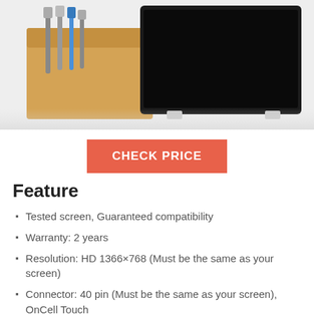[Figure (photo): Product photo showing a laptop screen replacement panel (black screen) alongside a cardboard box with screwdrivers/tools, on a light gray background.]
CHECK PRICE
Feature
Tested screen, Guaranteed compatibility
Warranty: 2 years
Resolution: HD 1366×768 (Must be the same as your screen)
Connector: 40 pin (Must be the same as your screen), OnCell Touch
Screen size: 15.6", Glossy